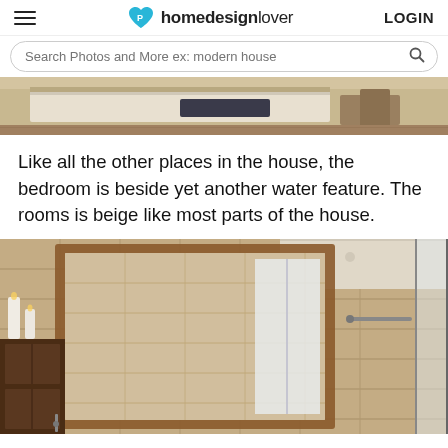homedesignlover LOGIN
[Figure (screenshot): Search bar with placeholder text 'Search Photos and More ex: modern house' and a magnifying glass icon]
[Figure (photo): Partial view of a bedroom interior with beige/neutral tones, white bedding with a dark folded item, and wooden flooring]
Like all the other places in the house, the bedroom is beside yet another water feature. The rooms is beige like most parts of the house.
[Figure (photo): Bathroom interior with beige stone tile walls, a large wood-framed mirror, dark wood cabinetry, white candles, and glass shower enclosure with metal fixtures]